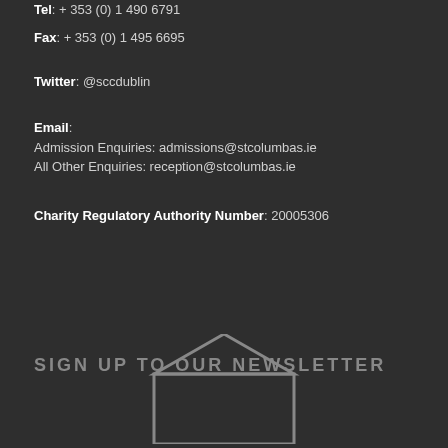Tel: +353 (0) 1 490 6791
Fax: +353 (0) 1 495 6695
Twitter: @sccdublin
Email:
Admission Enquiries: admissions@stcolumbas.ie
All Other Enquiries: reception@stcolumbas.ie
Charity Regulatory Authority Number: 20005306
SIGN UP TO OUR NEWSLETTER
[Figure (illustration): Envelope icon outline with triangle flap, grey color]